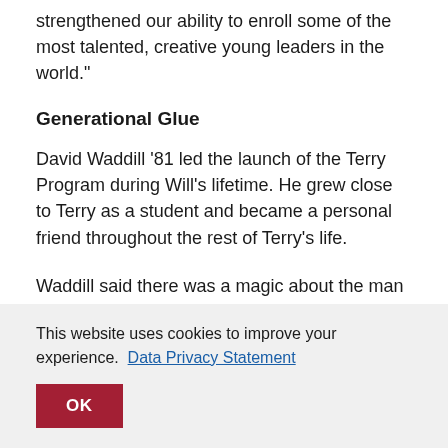strengthened our ability to enroll some of the most talented, creative young leaders in the world."
Generational Glue
David Waddill '81 led the launch of the Terry Program during Will's lifetime. He grew close to Terry as a student and became a personal friend throughout the rest of Terry's life.
Waddill said there was a magic about the man
This website uses cookies to improve your experience.  Data Privacy Statement
OK